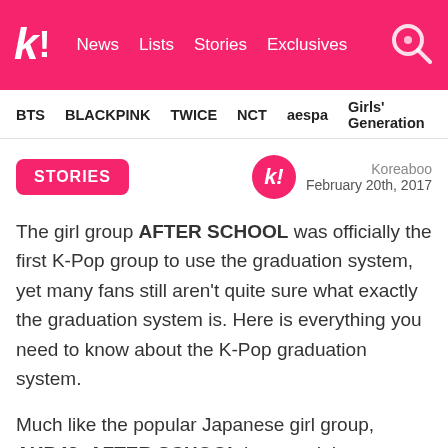k! News Lists Stories Exclusives
BTS  BLACKPINK  TWICE  NCT  aespa  Girls' Generation
STORIES
Koreaboo
February 20th, 2017
The girl group AFTER SCHOOL was officially the first K-Pop group to use the graduation system, yet many fans still aren't quite sure what exactly the graduation system is. Here is everything you need to know about the K-Pop graduation system.
Much like the popular Japanese girl group, AKB48, AFTER SCHOOL has used the graduation system to regulate their members and it's not all easy to understand it...